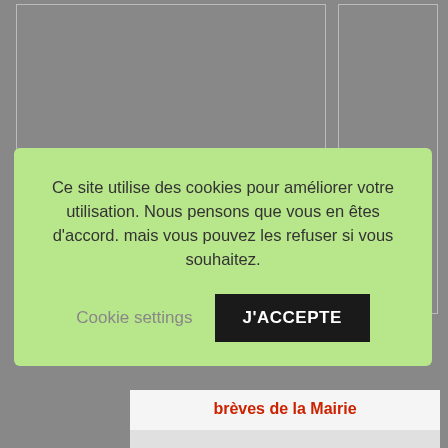[Figure (screenshot): Gray background area with two panels/columns visible behind a cookie consent banner overlay]
Ce site utilise des cookies pour améliorer votre utilisation. Nous pensons que vous en êtes d'accord. mais vous pouvez les refuser si vous souhaitez.
Cookie settings
J'ACCEPTE
Comments are closed.
brèves de la Mairie